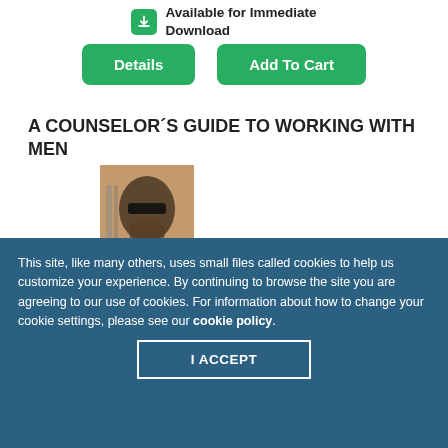Available for Immediate Download
[Figure (screenshot): Green download icon button]
[Figure (screenshot): Details and Add To Cart green buttons]
A COUNSELOR´S GUIDE TO WORKING WITH MEN
[Figure (photo): Book cover of 'Working with Men' showing a stylized face illustration with text 'A COUNSELOR'S GUIDE TO WORKING WITH MEN']
This site, like many others, uses small files called cookies to help us customize your experience. By continuing to browse the site you are agreeing to our use of cookies. For information about how to change your cookie settings, please see our cookie policy.
I ACCEPT